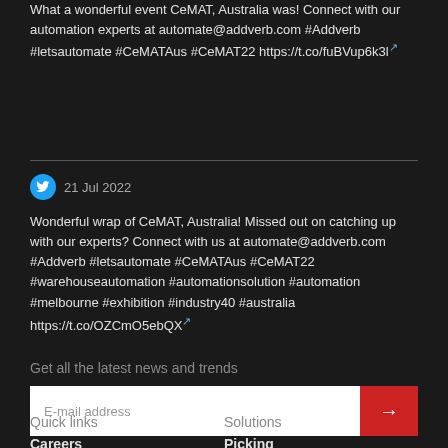What a wonderful event CeMAT, Australia was! Connect with our automation experts at automate@addverb.com #Addverb #letsautomate #CeMATAus #CeMAT22 https://t.co/fuBVup6k3l
21 Jul 2022
Wonderful wrap of CeMAT, Australia! Missed out on catching up with our experts? Connect with us at automate@addverb.com #Addverb #letsautomate #CeMATAus #CeMAT22 #warehouseautomation #automationsolution #automation #melbourne #exhibition #industry40 #australia https://t.co/OZCmO5ebQX
Get all the latest news and trends
E-mail address
Quick links
Solutions
Careers
Picking